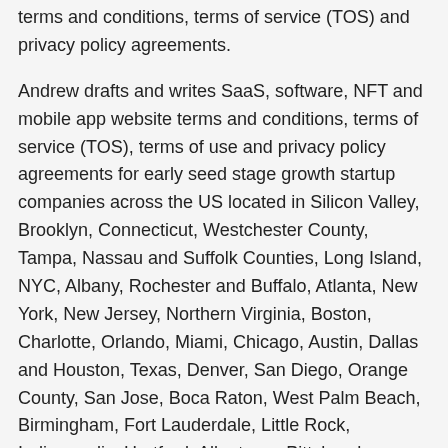terms and conditions, terms of service (TOS) and privacy policy agreements.
Andrew drafts and writes SaaS, software, NFT and mobile app website terms and conditions, terms of service (TOS), terms of use and privacy policy agreements for early seed stage growth startup companies across the US located in Silicon Valley, Brooklyn, Connecticut, Westchester County, Tampa, Nassau and Suffolk Counties, Long Island, NYC, Albany, Rochester and Buffalo, Atlanta, New York, New Jersey, Northern Virginia, Boston, Charlotte, Orlando, Miami, Chicago, Austin, Dallas and Houston, Texas, Denver, San Diego, Orange County, San Jose, Boca Raton, West Palm Beach, Birmingham, Fort Lauderdale, Little Rock, Indianapolis, Hartford, Allentown, Pittsburgh, Kansas City, Cleveland, Columbus, Cleveland, Salt Lake City, Utah, Boulder, Boise, Phoenix, Oklahoma City, St. Louis, Providence, Raleigh and Los Angeles, CA.